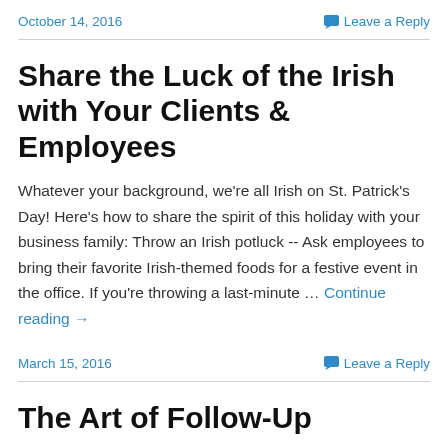October 14, 2016  |  Leave a Reply
Share the Luck of the Irish with Your Clients & Employees
Whatever your background, we're all Irish on St. Patrick's Day! Here's how to share the spirit of this holiday with your business family: Throw an Irish potluck -- Ask employees to bring their favorite Irish-themed foods for a festive event in the office. If you're throwing a last-minute … Continue reading →
March 15, 2016  |  Leave a Reply
The Art of Follow-Up